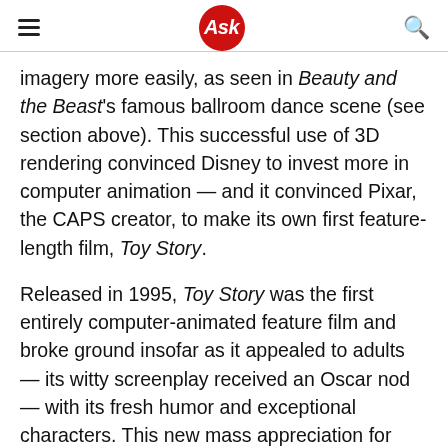Ask
imagery more easily, as seen in Beauty and the Beast's famous ballroom dance scene (see section above). This successful use of 3D rendering convinced Disney to invest more in computer animation — and it convinced Pixar, the CAPS creator, to make its own first feature-length film, Toy Story.
Released in 1995, Toy Story was the first entirely computer-animated feature film and broke ground insofar as it appealed to adults — its witty screenplay received an Oscar nod — with its fresh humor and exceptional characters. This new mass appreciation for animated films, and this new understanding that